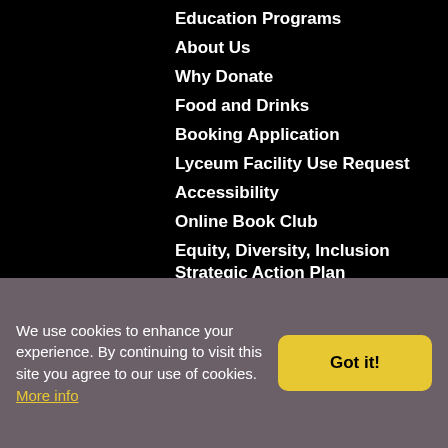Education Programs
About Us
Why Donate
Food and Drinks
Booking Application
Lyceum Facility Use Request
Accessibility
Online Book Club
Equity, Diversity, Inclusion Strategic Action Plan
FAQs
We use cookies to enhance your experience. By continuing to visit this site you agree to our use of cookies. More info